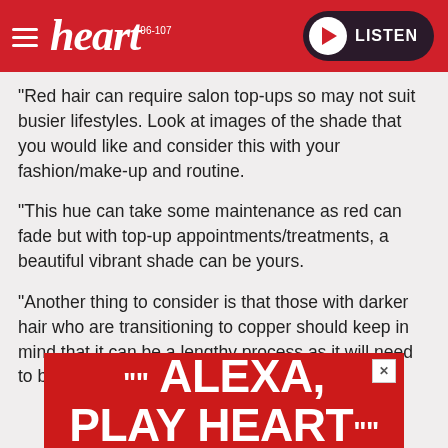heart 96-107 | LISTEN
“Red hair can require salon top-ups so may not suit busier lifestyles. Look at images of the shade that you would like and consider this with your fashion/make-up and routine.
“This hue can take some maintenance as red can fade but with top-up appointments/treatments, a beautiful vibrant shade can be yours.
“Another thing to consider is that those with darker hair who are transitioning to copper should keep in mind that it can be a lengthy process as it will need to be bleached first.
[Figure (photo): Advertisement banner with red background showing large white bold text reading 'ALEXA, PLAY HEART' with sparkle decorations and a close button in the top right corner.]